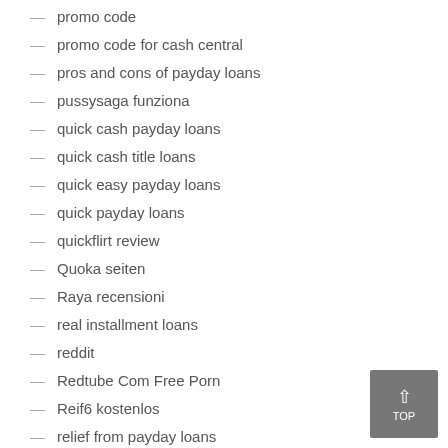promo code
promo code for cash central
pros and cons of payday loans
pussysaga funziona
quick cash payday loans
quick cash title loans
quick easy payday loans
quick payday loans
quickflirt review
Quoka seiten
Raya recensioni
real installment loans
reddit
Redtube Com Free Porn
Reif6 kostenlos
relief from payday loans